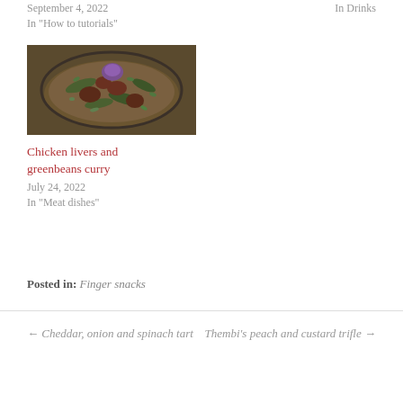September 4, 2022
In "How to tutorials"
In  Drinks
[Figure (photo): A dish of chicken livers and green beans curry in a bowl, viewed from above]
Chicken livers and greenbeans curry
July 24, 2022
In "Meat dishes"
Posted in: Finger snacks
← Cheddar, onion and spinach tart
Thembi's peach and custard trifle →